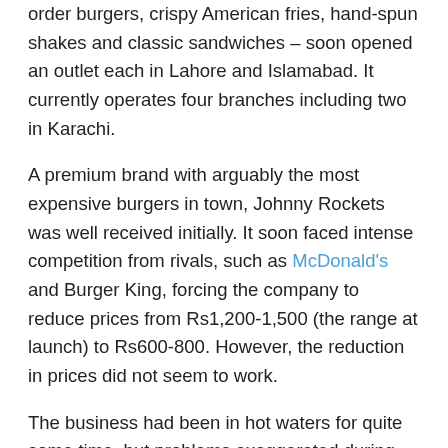order burgers, crispy American fries, hand-spun shakes and classic sandwiches – soon opened an outlet each in Lahore and Islamabad. It currently operates four branches including two in Karachi.
A premium brand with arguably the most expensive burgers in town, Johnny Rockets was well received initially. It soon faced intense competition from rivals, such as McDonald's and Burger King, forcing the company to reduce prices from Rs1,200-1,500 (the range at launch) to Rs600-800. However, the reduction in prices did not seem to work.
The business had been in hot waters for quite some time, but problems exaggerated during the last six months and reached tipping point recently, an official close to the developments said. The management has changed three times in two years; the entire supply chain team was fired (some resigned); the head of the supply chain operations